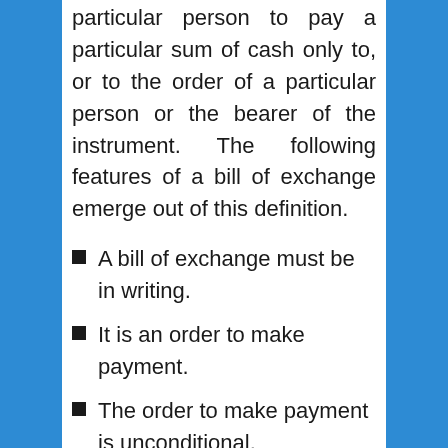particular person to pay a particular sum of cash only to, or to the order of a particular person or the bearer of the instrument. The following features of a bill of exchange emerge out of this definition.
A bill of exchange must be in writing.
It is an order to make payment.
The order to make payment is unconditional.
The maker of the bill of